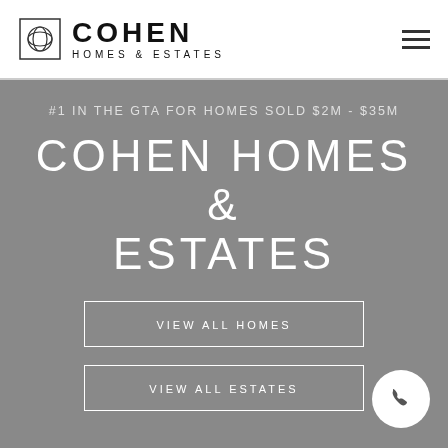[Figure (logo): Cohen Homes & Estates logo with decorative square emblem and text]
#1 IN THE GTA FOR HOMES SOLD $2M - $35M
COHEN HOMES & ESTATES
VIEW ALL HOMES
VIEW ALL ESTATES